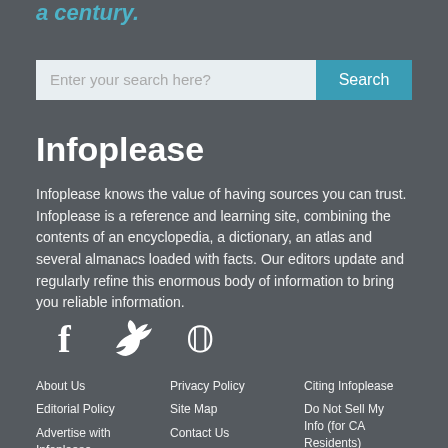a century.
[Figure (screenshot): Search bar with input field 'Enter your search here?' and a teal 'Search' button]
Infoplease
Infoplease knows the value of having sources you can trust. Infoplease is a reference and learning site, combining the contents of an encyclopedia, a dictionary, an atlas and several almanacs loaded with facts. Our editors update and regularly refine this enormous body of information to bring you reliable information.
[Figure (infographic): Social media icons: Facebook (f), Twitter (bird), Pinterest (p)]
About Us | Privacy Policy | Citing Infoplease | Editorial Policy | Site Map | Do Not Sell My Info (for CA Residents) | Advertise with Infoplease | Contact Us | Our Sources | Terms of Use